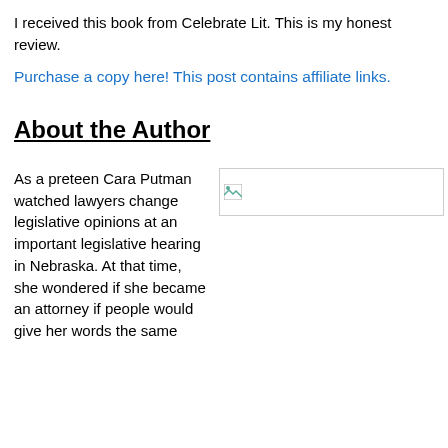I received this book from Celebrate Lit. This is my honest review.
Purchase a copy here! This post contains affiliate links.
About the Author
As a preteen Cara Putman watched lawyers change legislative opinions at an important legislative hearing in Nebraska. At that time, she wondered if she became an attorney if people would give her words the same
[Figure (photo): Broken image placeholder (author photo)]